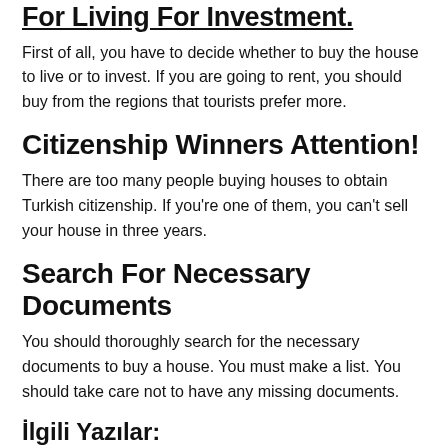For Living For Investment.
First of all, you have to decide whether to buy the house to live or to invest. If you are going to rent, you should buy from the regions that tourists prefer more.
Citizenship Winners Attention!
There are too many people buying houses to obtain Turkish citizenship. If you're one of them, you can't sell your house in three years.
Search For Necessary Documents
You should thoroughly search for the necessary documents to buy a house. You must make a list. You should take care not to have any missing documents.
İlgili Yazılar:
4 Out Of 100 Houses Are Sold To Foreigners